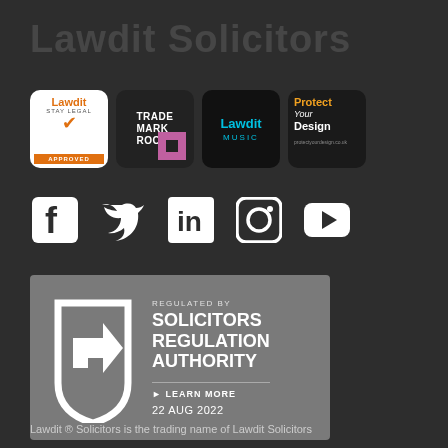Lawdit Solicitors
[Figure (logo): Row of four logo badges: Lawdit Stay Legal Approved, Trade Mark Room, Lawdit Music, Protect Your Design]
[Figure (infographic): Social media icons row: Facebook, Twitter, LinkedIn, Instagram, YouTube]
[Figure (logo): Regulated by Solicitors Regulation Authority - Learn More - 22 AUG 2022]
Lawdit ® Solicitors is the trading name of Lawdit Solicitors